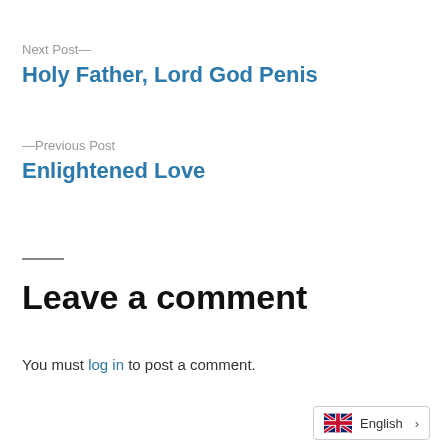Next Post—
Holy Father, Lord God Penis
—Previous Post
Enlightened Love
Leave a comment
You must log in to post a comment.
English